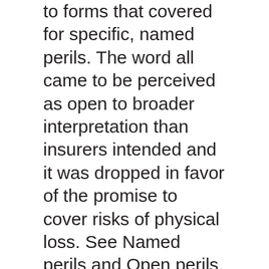to forms that covered for specific, named perils. The word all came to be perceived as open to broader interpretation than insurers intended and it was dropped in favor of the promise to cover risks of physical loss. See Named perils and Open perils.
Allocated loss adjustment expenses (ALAE) – Expenses directly attributable to specific claims. Includes payments for defense